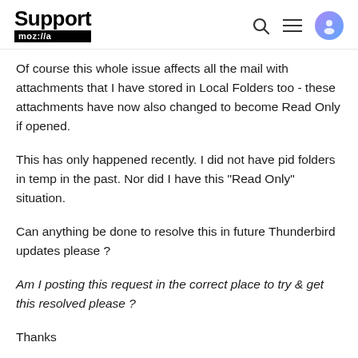Support mozilla://a
Of course this whole issue affects all the mail with attachments that I have stored in Local Folders too - these attachments have now also changed to become Read Only if opened.
This has only happened recently. I did not have pid folders in temp in the past. Nor did I have this "Read Only" situation.
Can anything be done to resolve this in future Thunderbird updates please ?
Am I posting this request in the correct place to try & get this resolved please ?
Thanks